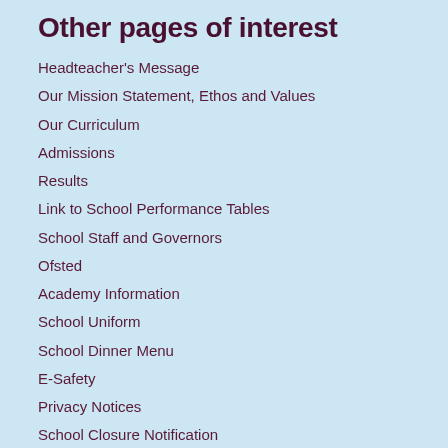Other pages of interest
Headteacher's Message
Our Mission Statement, Ethos and Values
Our Curriculum
Admissions
Results
Link to School Performance Tables
School Staff and Governors
Ofsted
Academy Information
School Uniform
School Dinner Menu
E-Safety
Privacy Notices
School Closure Notification